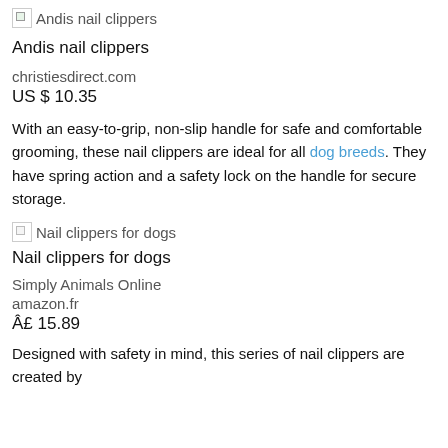[Figure (photo): Broken image placeholder for Andis nail clippers with label text]
Andis nail clippers
christiesdirect.com
US $ 10.35
With an easy-to-grip, non-slip handle for safe and comfortable grooming, these nail clippers are ideal for all dog breeds. They have spring action and a safety lock on the handle for secure storage.
[Figure (photo): Broken image placeholder for Nail clippers for dogs with label text]
Nail clippers for dogs
Simply Animals Online
amazon.fr
Â£ 15.89
Designed with safety in mind, this series of nail clippers are created by...